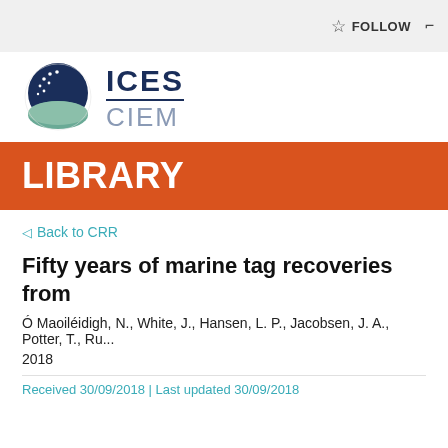FOLLOW
[Figure (logo): ICES CIEM logo with circular emblem showing dark blue globe with stars and teal wave]
LIBRARY
Back to CRR
Fifty years of marine tag recoveries from
Ó Maoiléidigh, N., White, J., Hansen, L. P., Jacobsen, J. A., Potter, T., Ru...
2018
Received 30/09/2018 | Last updated 30/09/2018